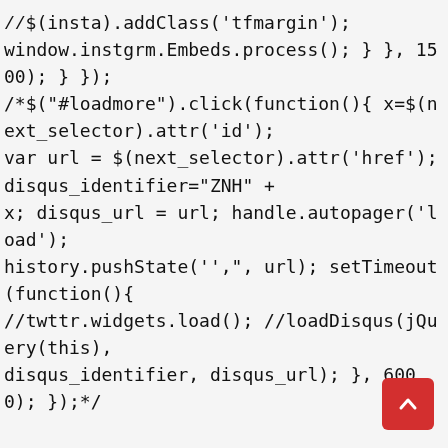//$( insta).addClass('tfmargin');
window.instgrm.Embeds.process(); } }, 1500); } });
/*$("#loadmore").click(function(){ x=$(next_selector).attr('id');
var url = $(next_selector).attr('href'); disqus_identifier="ZNH" +
x; disqus_url = url; handle.autopager('load');
history.pushState('',",url); setTimeout(function(){
//twttr.widgets.load(); //loadDisqus(jQuery(this),
disqus_identifier, disqus_url); }, 6000); });*/

/*$("button[id^='mf']").live("click", disqusToggle); function
disqusToggle() { console.log("Main id: " + $(this).attr('id')); }*/
$(document).delegate("button[id^='mf']", "click", function(){
fbcontainer=""; fbid = '#' + $(this).attr('id'); var sr =
fbid.replace("#mf", ".sr");

//console.log("Main id: " + $(this).attr('id') + "Goodbye!jQu